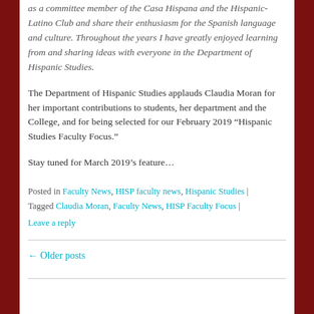as a committee member of the Casa Hispana and the Hispanic-Latino Club and share their enthusiasm for the Spanish language and culture. Throughout the years I have greatly enjoyed learning from and sharing ideas with everyone in the Department of Hispanic Studies.
The Department of Hispanic Studies applauds Claudia Moran for her important contributions to students, her department and the College, and for being selected for our February 2019 “Hispanic Studies Faculty Focus.”
Stay tuned for March 2019’s feature…
Posted in Faculty News, HISP faculty news, Hispanic Studies | Tagged Claudia Moran, Faculty News, HISP Faculty Focus | Leave a reply
← Older posts